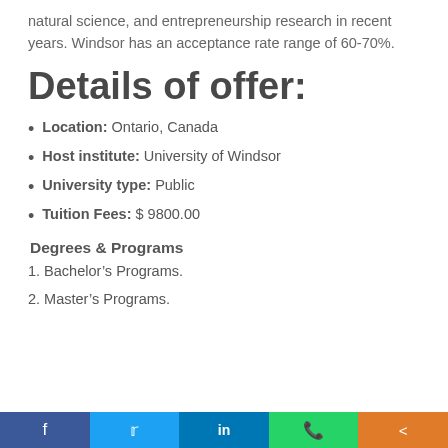natural science, and entrepreneurship research in recent years. Windsor has an acceptance rate range of 60-70%.
Details of offer:
Location: Ontario, Canada
Host institute: University of Windsor
University type: Public
Tuition Fees: $ 9800.00
Degrees & Programs
1. Bachelor's Programs.
2. Master's Programs.